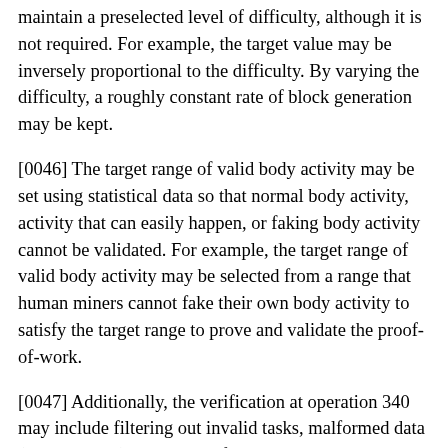maintain a preselected level of difficulty, although it is not required. For example, the target value may be inversely proportional to the difficulty. By varying the difficulty, a roughly constant rate of block generation may be kept.
[0046] The target range of valid body activity may be set using statistical data so that normal body activity, activity that can easily happen, or faking body activity cannot be validated. For example, the target range of valid body activity may be selected from a range that human miners cannot fake their own body activity to satisfy the target range to prove and validate the proof-of-work.
[0047] Additionally, the verification at operation 340 may include filtering out invalid tasks, malformed data (syntax errors) or data sent from an unauthorized user or generated by a machine learning system. For example,